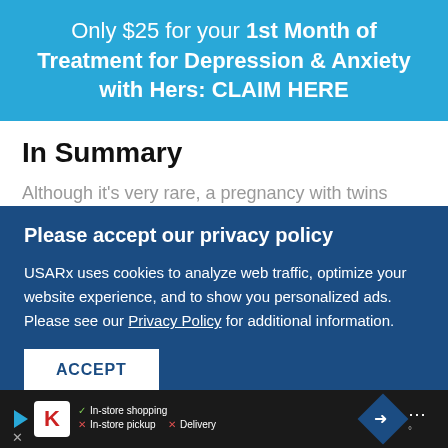Only $25 for your 1st Month of Treatment for Depression & Anxiety with Hers: CLAIM HERE
In Summary
Although it's very rare, a pregnancy with twins
Please accept our privacy policy
USARx uses cookies to analyze web traffic, optimize your website experience, and to show you personalized ads. Please see our Privacy Policy for additional information.
ACCEPT
first missed period to take a pregnancy test. You
In-store shopping  In-store pickup  Delivery